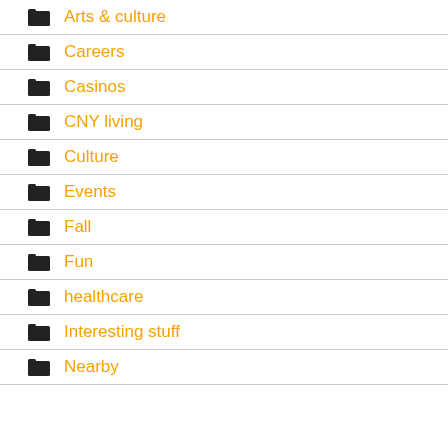Arts & culture
Careers
Casinos
CNY living
Culture
Events
Fall
Fun
healthcare
Interesting stuff
Nearby